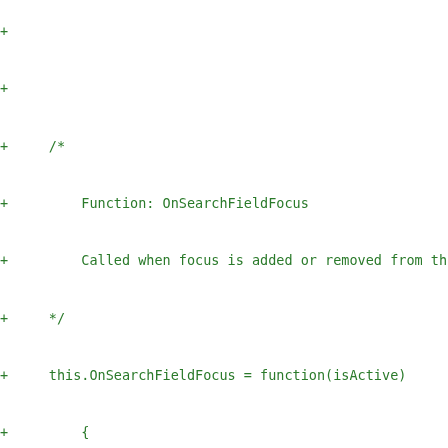+ 

+

+     /*

+         Function: OnSearchFieldFocus

+         Called when focus is added or removed from th

+     */

+     this.OnSearchFieldFocus = function(isActive)

+         {

+         this.Activate(isActive);

+         };

+